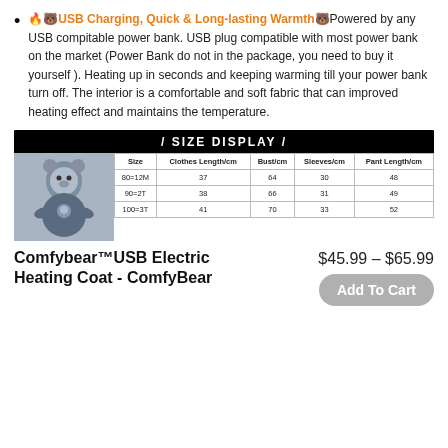🔥🐻USB Charging, Quick & Long-lasting Warmth🐻 Powered by any USB compitable power bank. USB plug compatible with most power bank on the market (Power Bank do not in the package, you need to buy it yourself ). Heating up in seconds and keeping warming till your power bank turn off. The interior is a comfortable and soft fabric that can improved heating effect and maintains the temperature.
| Size | Clothes Length/cm | Bust/cm | Sleeves/cm | Pant Length/cm |
| --- | --- | --- | --- | --- |
| 80=12M | 37 | 64 | 30 | 48 |
| 90=2T | 38 | 66 | 31 | 49 |
| 100=3T | 41 | 70 | 33 | 52 |
Comfybear™USB Electric Heating Coat - ComfyBear
$45.99 – $65.99
Add To Cart